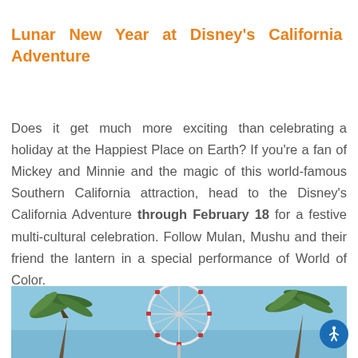Lunar New Year at Disney's California Adventure
Does it get much more exciting than celebrating a holiday at the Happiest Place on Earth? If you're a fan of Mickey and Minnie and the magic of this world-famous Southern California attraction, head to the Disney's California Adventure through February 18 for a festive multi-cultural celebration. Follow Mulan, Mushu and their friend the lantern in a special performance of World of Color.
[Figure (photo): Ferris wheel at Disney's California Adventure with palm trees against a blue sky]